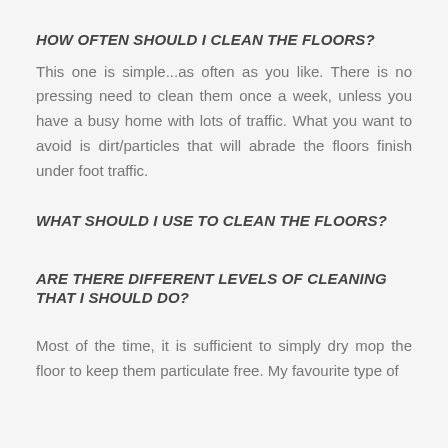HOW OFTEN SHOULD I CLEAN THE FLOORS?
This one is simple...as often as you like. There is no pressing need to clean them once a week, unless you have a busy home with lots of traffic. What you want to avoid is dirt/particles that will abrade the floors finish under foot traffic.
WHAT SHOULD I USE TO CLEAN THE FLOORS?
ARE THERE DIFFERENT LEVELS OF CLEANING THAT I SHOULD DO?
Most of the time, it is sufficient to simply dry mop the floor to keep them particulate free. My favourite type of mop is called a Microfibre mop that keeps a great